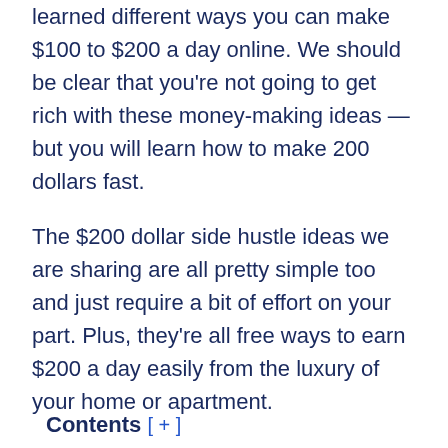learned different ways you can make $100 to $200 a day online. We should be clear that you're not going to get rich with these money-making ideas — but you will learn how to make 200 dollars fast.
The $200 dollar side hustle ideas we are sharing are all pretty simple too and just require a bit of effort on your part. Plus, they're all free ways to earn $200 a day easily from the luxury of your home or apartment.
Let's get started.
Contents [+]